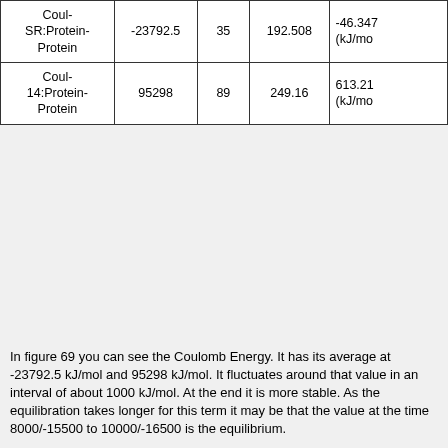|  |  |  |  |  |
| --- | --- | --- | --- | --- |
| Coul-SR:Protein-Protein | -23792.5 | 35 | 192.508 | -46.347 (kJ/mo |
| Coul-14:Protein-Protein | 95298 | 89 | 249.16 | 613.21 (kJ/mo |
In figure 69 you can see the Coulomb Energy. It has its average at -23792.5 kJ/mol and 95298 kJ/mol. It fluctuates around that value in an interval of about 1000 kJ/mol. At the end it is more stable. As the equilibration takes longer for this term it may be that the value at the time 8000/-15500 to 10000/-16500 is the equilibrium.
Interaction Energy: van der Waals
[Figure (continuous-plot): Gromacs Energies chart showing LJ-SR:Protein-P and LJ-14:Protein-P lines, with y-axis around 5000 and 0, partially visible]